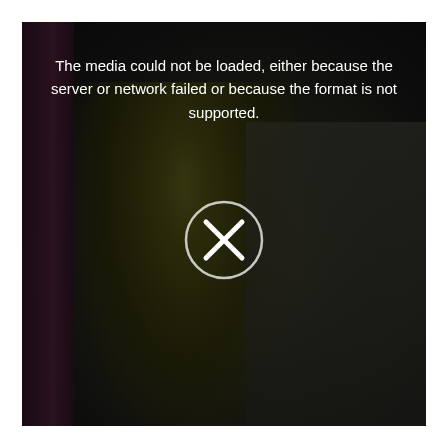[Figure (photo): A dark video player showing a media load error. In the background, a dimly lit bedroom scene is visible with a person wearing a green patterned top standing near purple curtains on the left and a bed with patterned pillows on the right. An error icon (circle with X) is displayed in the center of the player.]
The media could not be loaded, either because the server or network failed or because the format is not supported.